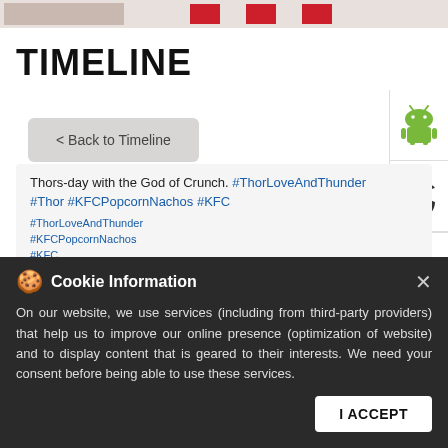[Figure (screenshot): Top navigation strip with red blocks and image thumbnails]
TIMELINE
[Figure (screenshot): Android robot icon in white panel on right side]
[Figure (screenshot): Apple logo icon in white panel on right side]
< Back to Timeline
Thors-day with the God of Crunch. #ThorLoveAndThunder #Thor #KFCPopcornNachos #KFC
Cookie Information
On our website, we use services (including from third-party providers) that help us to improve our online presence (optimization of website) and to display content that is geared to their interests. We need your consent before being able to use these services.
I ACCEPT
Don't know about you'll, but we haven't been the same since KFC Popcorn Nachos🍿 #kfcpopcornachos